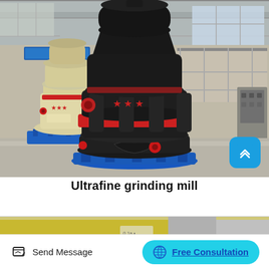[Figure (photo): Industrial workshop interior showing large ultrafine grinding mill machines. Center: tall black cylindrical mill with red band and red star decorations on a blue base platform. Left: smaller cream/yellow colored mill with red accents on blue base. Background: industrial warehouse ceiling, windows, metal structures, steel walkways, and electrical cabinet on right.]
Ultrafine grinding mill
[Figure (photo): Partial view of another machine or equipment, partially cropped, showing yellow and metallic parts.]
Send Message
Free Consultation